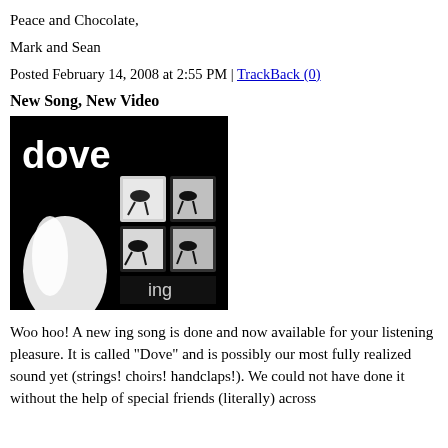Peace and Chocolate,
Mark and Sean
Posted February 14, 2008 at 2:55 PM | TrackBack (0)
New Song, New Video
[Figure (photo): Black and white album art image for 'Dove' by ing. Shows the word 'dove' in large white text on black background, with four panels depicting bird silhouettes, and the word 'ing' at the bottom.]
Woo hoo! A new ing song is done and now available for your listening pleasure. It is called "Dove" and is possibly our most fully realized sound yet (strings! choirs! handclaps!). We could not have done it without the help of special friends (literally) across